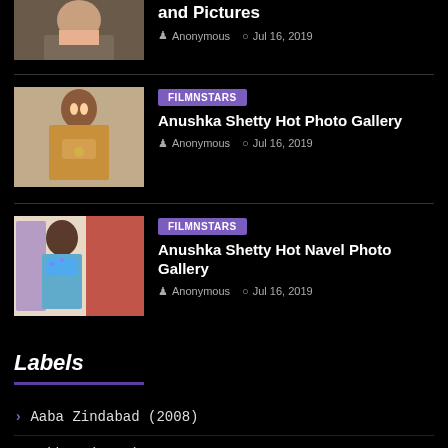[Figure (photo): Partial photo of a woman with long hair wearing casual clothes, cropped at top]
and Pictures
Anonymous  Jul 16, 2019
[Figure (photo): Photo of Anushka Shetty in traditional Indian attire, off-shoulder design with jewelry]
FILMNSTARS
Anushka Shetty Hot Photo Gallery
Anonymous  Jul 16, 2019
[Figure (photo): Photo of a woman in a blue embellished crop top dancing, with red drape in background]
FILMNSTARS
Anushka Shetty Hot Navel Photo Gallery
Anonymous  Jul 16, 2019
Labels
Aaba Zindabad (2008)
Aabbus (2005)